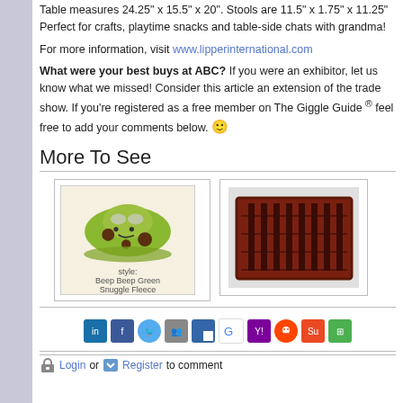Table measures 24.25" x 15.5" x 20". Stools are 11.5" x 1.75" x 11.25" Perfect for crafts, playtime snacks and table-side chats with grandma!
For more information, visit www.lipperinternational.com
What were your best buys at ABC? If you were an exhibitor, let us know what we missed! Consider this article an extension of the trade show. If you're registered as a free member on The Giggle Guide® feel free to add your comments below. 🙂
More To See
[Figure (photo): Green car-shaped plush toy labeled 'style: Beep Beep Green Snuggle Fleece']
[Figure (photo): Red/brown plastic rectangular storage rack or organizer product]
[Figure (other): Row of social media sharing icons: LinkedIn, Facebook, Twitter, people/friends, Delicious, Google, Yahoo, Reddit, StumbleUpon, and another icon]
Login or Register to comment